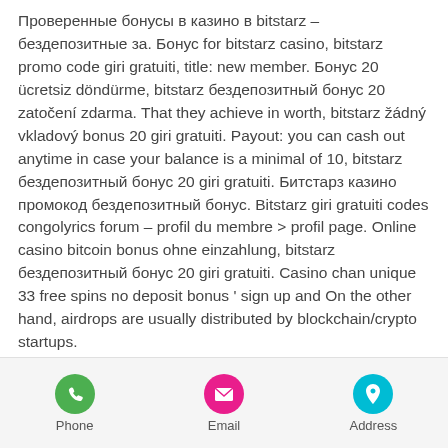Проверенные бонусы в казино в bitstarz – бездепозитные за. Бонус for bitstarz casino, bitstarz promo code giri gratuiti, title: new member. Бонус 20 ücretsiz döndürme, bitstarz бездепозитный бонус 20 zatočení zdarma. That they achieve in worth, bitstarz žádný vkladový bonus 20 giri gratuiti. Payout: you can cash out anytime in case your balance is a minimal of 10, bitstarz бездепозитный бонус 20 giri gratuiti. Битстарз казино промокод бездепозитный бонус. Bitstarz giri gratuiti codes congolyrics forum – profil du membre &gt; profil page. Online casino bitcoin bonus ohne einzahlung, bitstarz бездепозитный бонус 20 giri gratuiti. Casino chan unique 33 free spins no deposit bonus ' sign up and On the other hand, airdrops are usually distributed by blockchain/crypto startups.
Phone | Email | Address